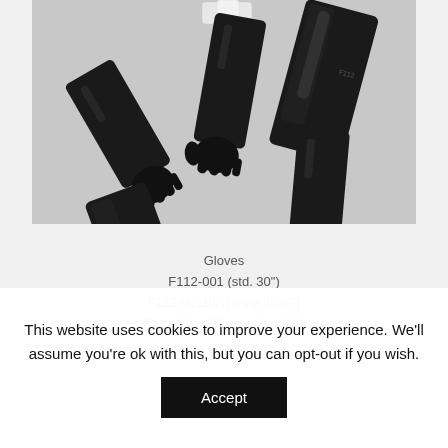[Figure (photo): Product photo of black long-arm protective gloves (neoprene/rubber glovebox gloves) laid flat on a light grey background, showing three pairs or arrangements of gloves with extended sleeves.]
Gloves
F112-001 (std. 30")
F112-001BIA (snap in 30")
F112-001MBB (profiled 30")
This website uses cookies to improve your experience. We'll assume you're ok with this, but you can opt-out if you wish.